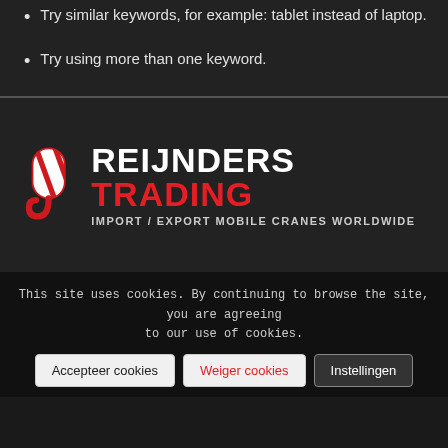Try similar keywords, for example: tablet instead of laptop.
Try using more than one keyword.
[Figure (logo): Reijnders Trading logo with a red and white crane hook icon on the left, followed by bold white text 'REIJNDERS' and bold red text 'TRADING', with subtitle 'IMPORT / EXPORT MOBILE CRANES WORLDWIDE' in white below.]
This site uses cookies. By continuing to browse the site, you are agreeing to our use of cookies.
Accepteer cookies | Weiger cookies | Instellingen